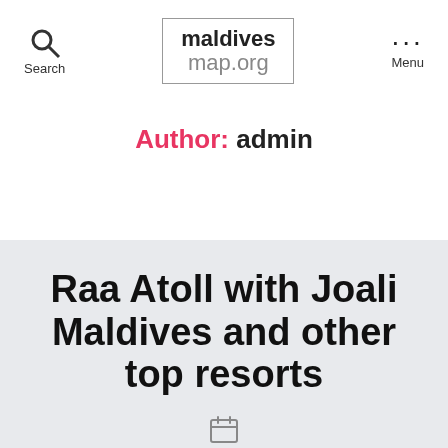maldives map.org
Author: admin
Raa Atoll with Joali Maldives and other top resorts